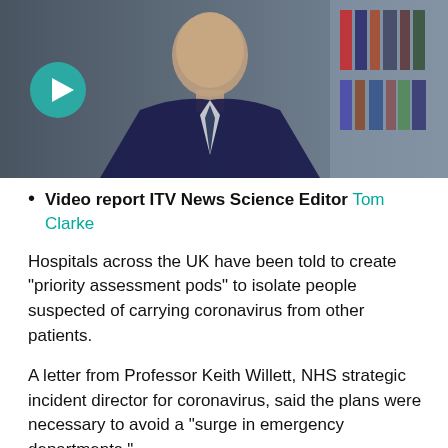[Figure (photo): Video thumbnail showing a man in a dark suit with a play button overlay. The man appears to be sitting in front of a bookshelf. A teal/green circular play button is overlaid on the lower left of the image.]
Video report ITV News Science Editor Tom Clarke
Hospitals across the UK have been told to create "priority assessment pods" to isolate people suspected of carrying coronavirus from other patients.
A letter from Professor Keith Willett, NHS strategic incident director for coronavirus, said the plans were necessary to avoid a "surge in emergency departments."
Patients who think they may have coronavirus symptoms would be directed away from A&E and towards one of the pods, where they could contact specialists on a dedicated phone line.